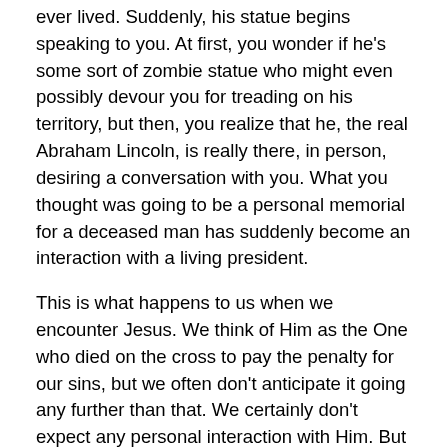ever lived. Suddenly, his statue begins speaking to you. At first, you wonder if he's some sort of zombie statue who might even possibly devour you for treading on his territory, but then, you realize that he, the real Abraham Lincoln, is really there, in person, desiring a conversation with you. What you thought was going to be a personal memorial for a deceased man has suddenly become an interaction with a living president.
This is what happens to us when we encounter Jesus.  We think of Him as the One who died on the cross to pay the penalty for our sins, but we often don't anticipate it going any further than that.  We certainly don't expect any personal interaction with Him.  But then, we encounter Him and we remember that He's alive and real, not wanting to destroy us but desiring a strong, real meaningful, personal relationship with each one of us.